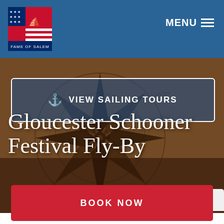MENU
[Figure (logo): Fame of Salem ship logo with American flag and sailing ship emblem]
⚓ VIEW SAILING TOURS
Gloucester Schooner Festival Fly-By
QUICK DETAILS
BOOK NOW